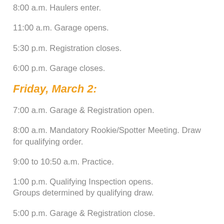8:00 a.m. Haulers enter.
11:00 a.m. Garage opens.
5:30 p.m. Registration closes.
6:00 p.m. Garage closes.
Friday, March 2:
7:00 a.m. Garage & Registration open.
8:00 a.m. Mandatory Rookie/Spotter Meeting. Draw for qualifying order.
9:00 to 10:50 a.m. Practice.
1:00 p.m. Qualifying Inspection opens.
Groups determined by qualifying draw.
5:00 p.m. Garage & Registration close.